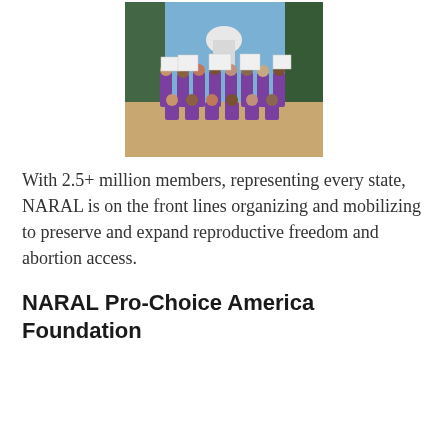[Figure (photo): Group of people in purple t-shirts holding signs, gathered outdoors near trees with the US Capitol building visible in the background.]
With 2.5+ million members, representing every state, NARAL is on the front lines organizing and mobilizing to preserve and expand reproductive freedom and abortion access.
NARAL Pro-Choice America Foundation